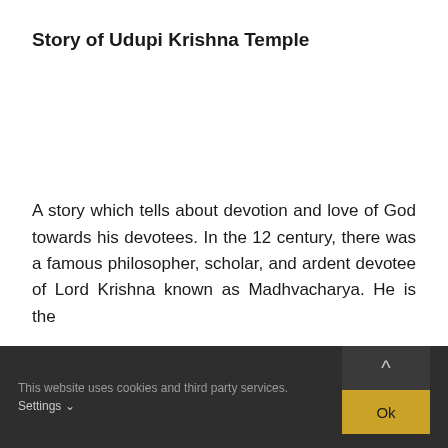Story of Udupi Krishna Temple
A story which tells about devotion and love of God towards his devotees. In the 12 century, there was a famous philosopher, scholar, and ardent devotee of Lord Krishna known as Madhvacharya. He is the
This website uses cookies and third party services. Settings  Ok